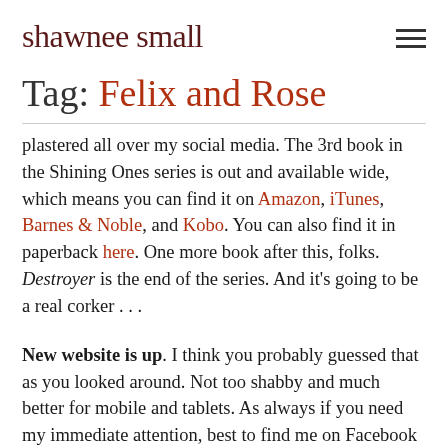shawnee small
Tag: Felix and Rose
plastered all over my social media. The 3rd book in the Shining Ones series is out and available wide, which means you can find it on Amazon, iTunes, Barnes & Noble, and Kobo. You can also find it in paperback here. One more book after this, folks. Destroyer is the end of the series. And it's going to be a real corker . . .
New website is up. I think you probably guessed that as you looked around. Not too shabby and much better for mobile and tablets. As always if you need my immediate attention, best to find me on Facebook or Twitter. And now unfortunately Instagram, too.